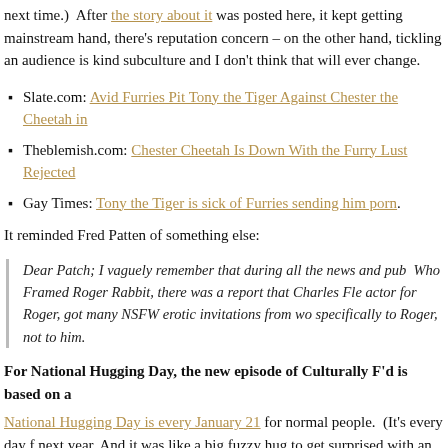next time.)  After the story about it was posted here, it kept getting mainstream hand, there's reputation concern – on the other hand, tickling an audience is kind subculture and I don't think that will ever change.
Slate.com: Avid Furries Pit Tony the Tiger Against Chester the Cheetah in
Theblemish.com: Chester Cheetah Is Down With the Furry Lust Rejected
Gay Times: Tony the Tiger is sick of Furries sending him porn.
It reminded Fred Patten of something else:
Dear Patch; I vaguely remember that during all the news and pub Who Framed Roger Rabbit, there was a report that Charles Fle actor for Roger, got many NSFW erotic invitations from wo specifically to Roger, not to him.
For National Hugging Day, the new episode of Culturally F'd is based on a
National Hugging Day is every January 21 for normal people.  (It's every day f next year. And it was like a big fuzzy hug to get surprised with an entire vide furries." Wow thanks Arrkay and crew, nice to see you used it!  Anyone can free